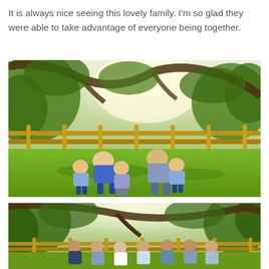It is always nice seeing this lovely family. I'm so glad they were able to take advantage of everyone being together.
[Figure (photo): Outdoor family photo of grandparents seated with three young grandchildren on a sunny green lawn, with a wooden fence and large trees in the background.]
[Figure (photo): Group family photo of multiple adults and children standing outdoors under large trees with bright sunlight, in front of a wooden fence.]